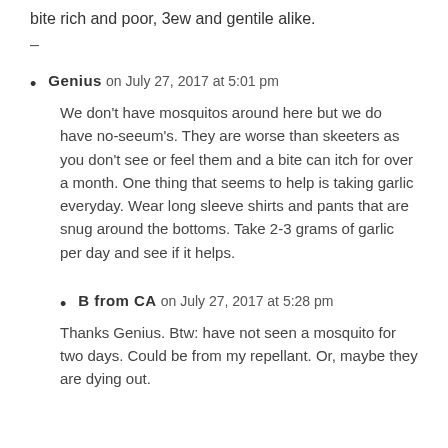bite rich and poor, 3ew and gentile alike.
–
Genius on July 27, 2017 at 5:01 pm
We don't have mosquitos around here but we do have no-seeum's. They are worse than skeeters as you don't see or feel them and a bite can itch for over a month. One thing that seems to help is taking garlic everyday. Wear long sleeve shirts and pants that are snug around the bottoms. Take 2-3 grams of garlic per day and see if it helps.
B from CA on July 27, 2017 at 5:28 pm
Thanks Genius. Btw: have not seen a mosquito for two days. Could be from my repellant. Or, maybe they are dying out.